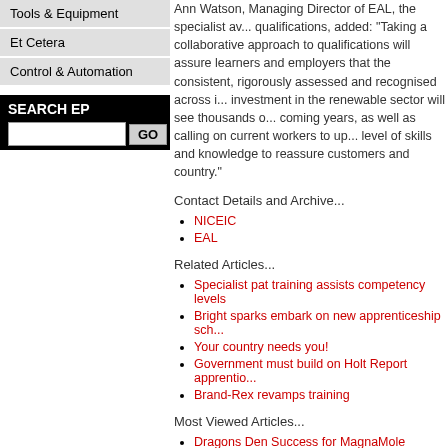Tools & Equipment
Et Cetera
Control & Automation
SEARCH EP
Ann Watson, Managing Director of EAL, the specialist awarding organisation for engineering qualifications, added: "Taking a collaborative approach to developing these qualifications will assure learners and employers that the qualifications are consistent, rigorously assessed and recognised across industry. The level of investment in the renewable sector will see thousands of new jobs created in the coming years, as well as calling on current workers to update and extend their level of skills and knowledge to reassure customers and businesses across the country."
Contact Details and Archive...
NICEIC
EAL
Related Articles...
Specialist pat training assists competency levels
Bright sparks embark on new apprenticeship scheme
Your country needs you!
Government must build on Holt Report apprenticeships
Brand-Rex revamps training
Most Viewed Articles...
Dragons Den Success for MagnaMole
Beware of socket testers not detecting poor earth
Sowing the Seeds of Disaster
MK Multi-Media Sockets
Perfect trunking package for academy